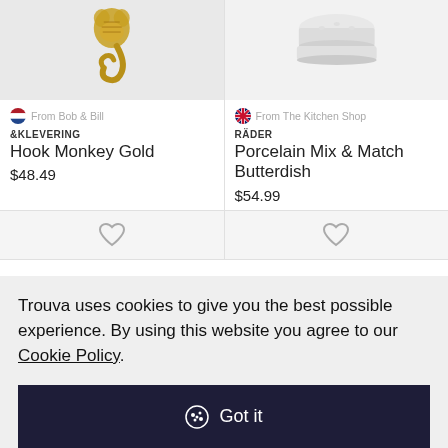[Figure (photo): Golden monkey hook product photo on light grey background]
[Figure (photo): White porcelain butterdish product photo on light grey background]
From Bob & Bill
&KLEVERING
Hook Monkey Gold
$48.49
From The Kitchen Shop
RÄDER
Porcelain Mix & Match Butterdish
$54.99
Trouva uses cookies to give you the best possible experience. By using this website you agree to our Cookie Policy.
Got it